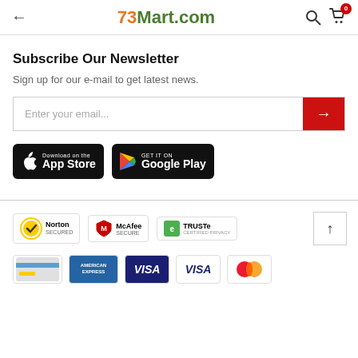73Mart.com
Subscribe Our Newsletter
Sign up for our e-mail to get latest news.
[Figure (screenshot): Email subscription input field with red submit arrow button]
[Figure (screenshot): App store download badges: Download on App Store and Get it on Google Play]
[Figure (infographic): Security trust badges: Norton Secured, McAfee Secure, TRUSTe Certified Privacy]
[Figure (infographic): Payment method icons: generic card, American Express, Visa, Visa, Mastercard]